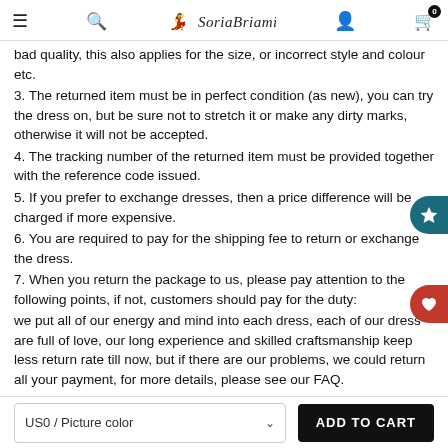SoriaBriami [logo with menu, search, user, cart icons]
bad quality, this also applies for the size, or incorrect style and colour etc.
3. The returned item must be in perfect condition (as new), you can try the dress on, but be sure not to stretch it or make any dirty marks, otherwise it will not be accepted.
4. The tracking number of the returned item must be provided together with the reference code issued.
5. If you prefer to exchange dresses, then a price difference will be charged if more expensive.
6. You are required to pay for the shipping fee to return or exchange the dress.
7. When you return the package to us, please pay attention to the following points, if not, customers should pay for the duty:
we put all of our energy and mind into each dress, each of our dress are full of love, our long experience and skilled craftsmanship keep less return rate till now, but if there are our problems, we could return all your payment, for more details, please see our FAQ.